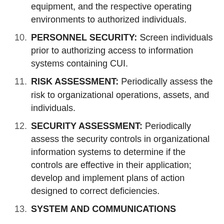equipment, and the respective operating environments to authorized individuals.
10. PERSONNEL SECURITY: Screen individuals prior to authorizing access to information systems containing CUI.
11. RISK ASSESSMENT: Periodically assess the risk to organizational operations, assets, and individuals.
12. SECURITY ASSESSMENT: Periodically assess the security controls in organizational information systems to determine if the controls are effective in their application; develop and implement plans of action designed to correct deficiencies.
13. SYSTEM AND COMMUNICATIONS